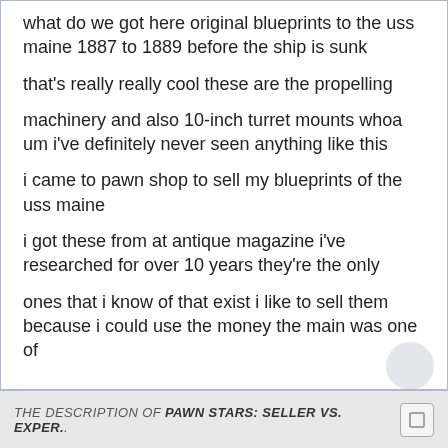what do we got here original blueprints to the uss maine 1887 to 1889 before the ship is sunk
that's really really cool these are the propelling
machinery and also 10-inch turret mounts whoa um i've definitely never seen anything like this
i came to pawn shop to sell my blueprints of the uss maine
i got these from at antique magazine i've researched for over 10 years they're the only
ones that i know of that exist i like to sell them because i could use the money the main was one of
THE DESCRIPTION OF PAWN STARS: SELLER VS. EXPER..